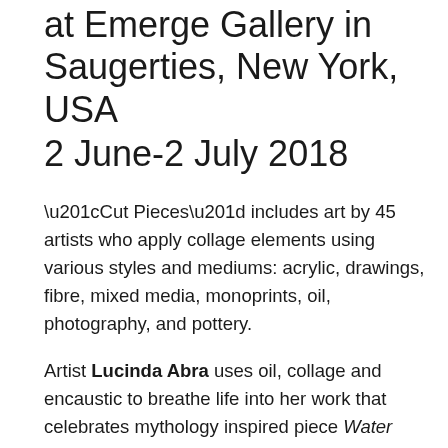at Emerge Gallery in Saugerties, New York, USA
2 June-2 July 2018
“Cut Pieces” includes art by 45 artists who apply collage elements using various styles and mediums: acrylic, drawings, fibre, mixed media, monoprints, oil, photography, and pottery.
Artist Lucinda Abra uses oil, collage and encaustic to breathe life into her work that celebrates mythology inspired piece Water Guardian; artist Cheryl Lickona combines vintage images and her love of photography as a storytelling vehicle in her digital collage Rose Web, while photographer jd weiss uses hand-painted, medium-format film to create the photo collage fantasy pathway to dreams; artist Susan J. Murphy marries her photographs with